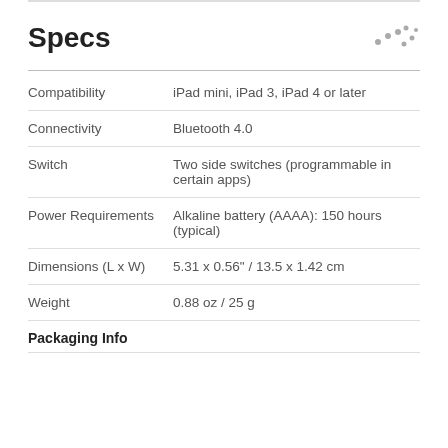Specs
| Spec | Value |
| --- | --- |
| Compatibility | iPad mini, iPad 3, iPad 4 or later |
| Connectivity | Bluetooth 4.0 |
| Switch | Two side switches (programmable in certain apps) |
| Power Requirements | Alkaline battery (AAAA): 150 hours (typical) |
| Dimensions (L x W) | 5.31 x 0.56" / 13.5 x 1.42 cm |
| Weight | 0.88 oz / 25 g |
Packaging Info